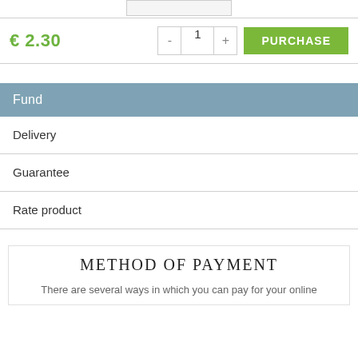[Figure (other): Product image thumbnail partially visible at top of page]
€ 2.30
- 1 + PURCHASE
Fund
Delivery
Guarantee
Rate product
METHOD OF PAYMENT
There are several ways in which you can pay for your online